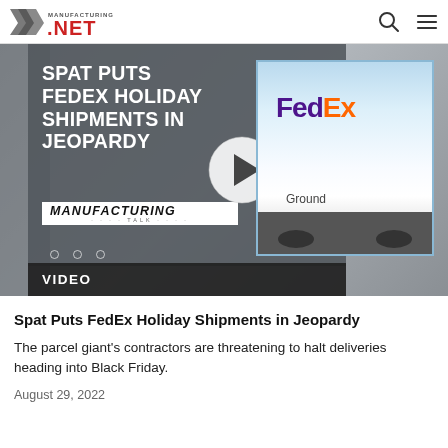Manufacturing.net
[Figure (screenshot): Video thumbnail showing text 'SPAT PUTS FEDEX HOLIDAY SHIPMENTS IN JEOPARDY' on a dark overlay with a play button, Manufacturing Talk logo, and a FedEx Ground truck on the right side. A 'VIDEO' label bar is at the bottom.]
Spat Puts FedEx Holiday Shipments in Jeopardy
The parcel giant's contractors are threatening to halt deliveries heading into Black Friday.
August 29, 2022